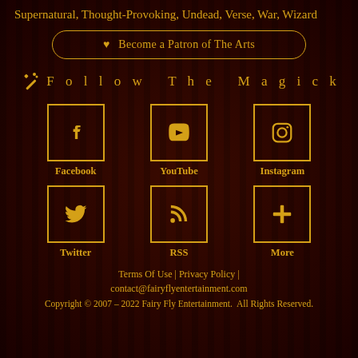Supernatural, Thought-Provoking, Undead, Verse, War, Wizard
♥ Become a Patron of The Arts
✨ Follow The Magick
[Figure (illustration): Social media icons grid: Facebook, YouTube, Instagram (top row); Twitter, RSS, More (bottom row), each in a gold-bordered square box with labels below]
Terms Of Use | Privacy Policy | contact@fairyflyentertainment.com
Copyright © 2007 – 2022 Fairy Fly Entertainment. All Rights Reserved.